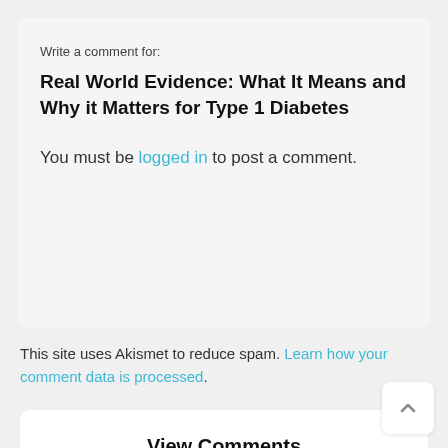Write a comment for:
Real World Evidence: What It Means and Why it Matters for Type 1 Diabetes
You must be logged in to post a comment.
This site uses Akismet to reduce spam. Learn how your comment data is processed.
View Comments